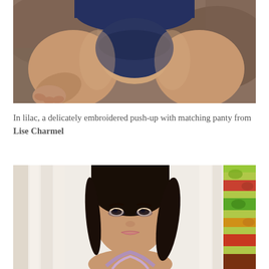[Figure (photo): Close-up photo of model wearing navy blue lace lingerie panty, seated against a stone/rock background. Lower torso and legs visible.]
In lilac, a delicately embroidered push-up with matching panty from Lise Charmel
[Figure (photo): Portrait photo of a dark-haired model wearing a lavender/lilac embroidered bra, photographed in front of white curtains with a colorful floral panel on the right side.]